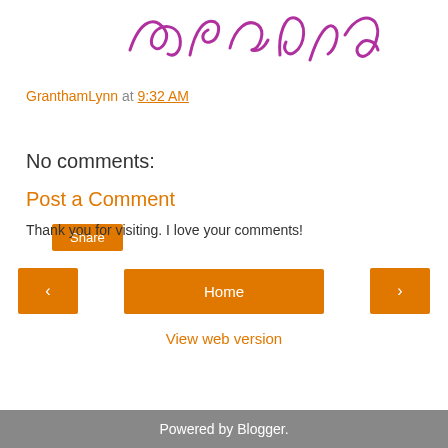[Figure (illustration): Handwritten cursive signature/text in purple/magenta color at the top of the page]
GranthamLynn at 9:32 AM
Share
No comments:
Post a Comment
Thank you for visiting. I love your comments!
< Home >
View web version
Powered by Blogger.